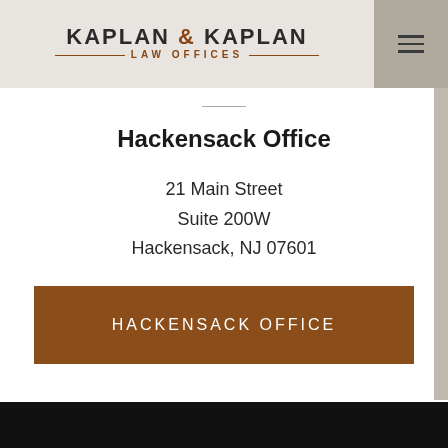[Figure (logo): Kaplan & Kaplan Law Offices logo with decorative horizontal rules in brown/copper color]
Hackensack Office
21 Main Street
Suite 200W
Hackensack, NJ 07601
HACKENSACK OFFICE